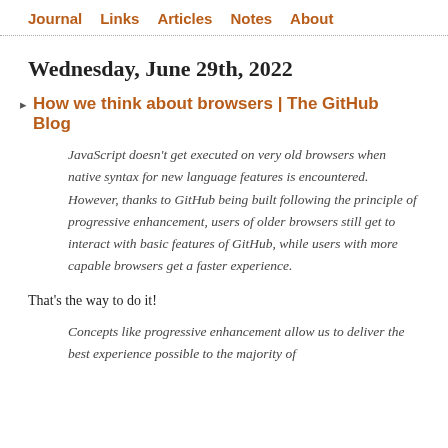Journal   Links   Articles   Notes   About
Wednesday, June 29th, 2022
How we think about browsers | The GitHub Blog
JavaScript doesn't get executed on very old browsers when native syntax for new language features is encountered. However, thanks to GitHub being built following the principle of progressive enhancement, users of older browsers still get to interact with basic features of GitHub, while users with more capable browsers get a faster experience.
That's the way to do it!
Concepts like progressive enhancement allow us to deliver the best experience possible to the majority of